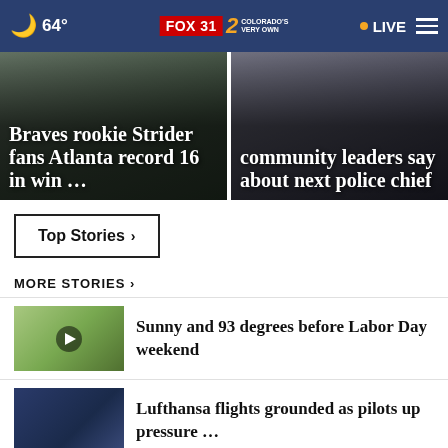64° FOX31 2 COLORADO'S VERY OWN • LIVE
[Figure (screenshot): Hero image left: Braves rookie Strider fans Atlanta record 16 in win ...]
[Figure (screenshot): Hero image right: community leaders say about next police chief]
Top Stories ›
MORE STORIES ›
[Figure (photo): Thumbnail: dog wearing sunglasses outdoors]
Sunny and 93 degrees before Labor Day weekend
[Figure (photo): Thumbnail: Lufthansa plane on tarmac]
Lufthansa flights grounded as pilots up pressure …
[Figure (photo): Thumbnail: partial image at bottom of page]